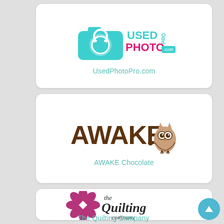[Figure (logo): UsedPhotoPro.com logo with cyan camera icon and USED PHOTO PRO text in cyan and pink]
UsedPhotoPro.com
[Figure (logo): AWAKE Chocolate logo with brown AWAKE text and brown owl icon]
AWAKE Chocolate
[Figure (logo): The Quilting Company logo with pink quilting pattern icon and stylized script text]
The Quilting Company